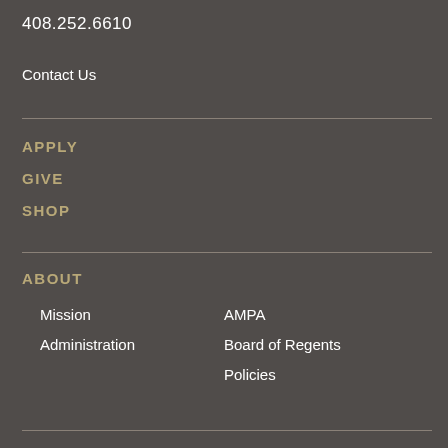408.252.6610
Contact Us
APPLY
GIVE
SHOP
ABOUT
Mission
Administration
AMPA
Board of Regents
Policies